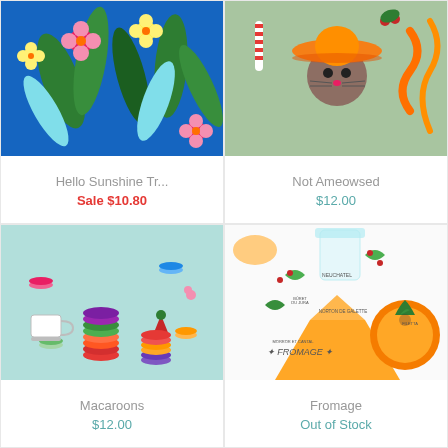[Figure (photo): Tropical floral fabric pattern on blue background with pink and yellow flowers and green leaves]
Hello Sunshine Tr...
Sale $10.80
[Figure (photo): Illustrated fabric pattern on mint/sage green background with cartoon cat wearing sombrero and holiday decorations]
Not Ameowsed
$12.00
[Figure (photo): Fabric pattern on light blue background featuring illustrated macaroons, strawberries, teacups and French pastries]
Macaroons
$12.00
[Figure (photo): Illustrated fabric pattern on white background featuring various French cheeses with text labels including FROMAGE, Neuchatel, Filetta]
Fromage
Out of Stock